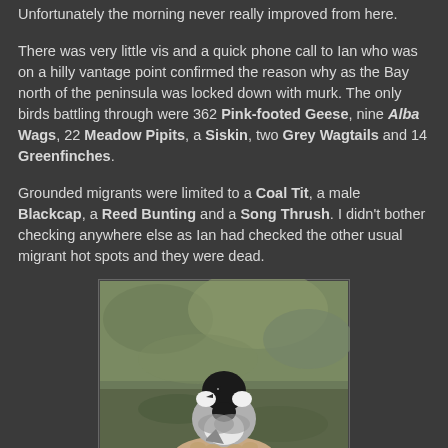Unfortunately the morning never really improved from here.
There was very little vis and a quick phone call to Ian who was on a hilly vantage point confirmed the reason why as the Bay north of the peninsula was locked down with murk. The only birds battling through were 362 Pink-footed Geese, nine Alba Wags, 22 Meadow Pipits, a Siskin, two Grey Wagtails and 14 Greenfinches.
Grounded migrants were limited to a Coal Tit, a male Blackcap, a Reed Bunting and a Song Thrush. I didn't bother checking anywhere else as Ian had checked the other usual migrant hot spots and they were dead.
[Figure (photo): A small bird (Coal Tit) with a black cap and white cheek patches being held in a human hand, with a blurred natural background.]